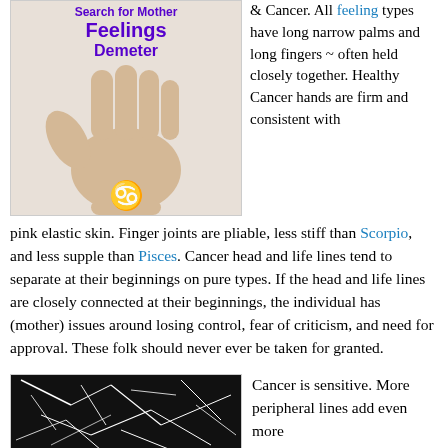[Figure (illustration): Illustration of an open hand with text overlaid: 'Search for Mother', 'Feelings', 'Demeter', and the Cancer zodiac symbol (♋) in purple, on a skin-toned background.]
& Cancer. All feeling types have long narrow palms and long fingers ~ often held closely together. Healthy Cancer hands are firm and consistent with
pink elastic skin. Finger joints are pliable, less stiff than Scorpio, and less supple than Pisces. Cancer head and life lines tend to separate at their beginnings on pure types. If the head and life lines are closely connected at their beginnings, the individual has (mother) issues around losing control, fear of criticism, and need for approval. These folk should never ever be taken for granted.
[Figure (photo): Dark/black and white image showing a palm with many fine cracked or branching lines (peripheral lines), on a dark background.]
Cancer is sensitive. More peripheral lines add even more